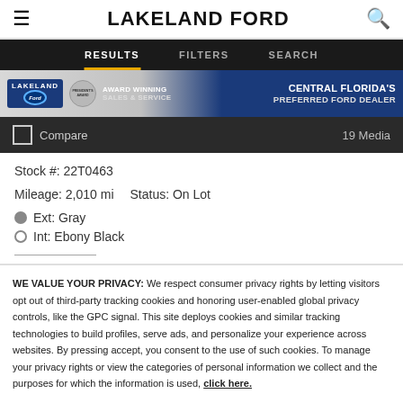LAKELAND FORD
RESULTS   FILTERS   SEARCH
[Figure (screenshot): Lakeland Ford dealership banner: logo, President's Award badge, 'Award Winning Sales & Service', 'Central Florida's Preferred Ford Dealer']
Compare   19 Media
Stock #: 22T0463
Mileage: 2,010 mi   Status: On Lot
Ext: Gray
Int: Ebony Black
WE VALUE YOUR PRIVACY: We respect consumer privacy rights by letting visitors opt out of third-party tracking cookies and honoring user-enabled global privacy controls, like the GPC signal. This site deploys cookies and similar tracking technologies to build profiles, serve ads, and personalize your experience across websites. By pressing accept, you consent to the use of such cookies. To manage your privacy rights or view the categories of personal information we collect and the purposes for which the information is used, click here.
Language: English   Powered by ComplyAuto
Accept and Continue →   Privacy Policy   ×